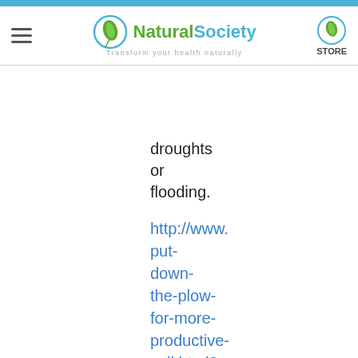Natural Society – Transform your health naturally | STORE
droughts or flooding.
http://www.put-down-the-plow-for-more-productive-soil.html?partner=rss
3. Bishop says:
March 5, 2015 at 9:33